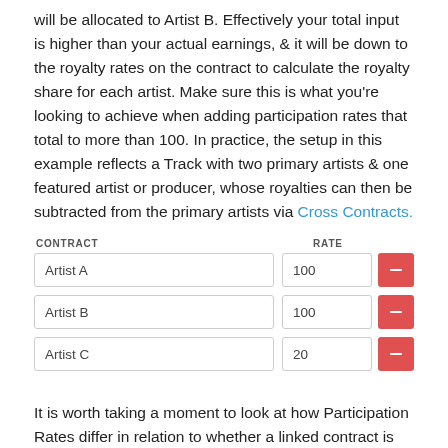will be allocated to Artist B. Effectively your total input is higher than your actual earnings, & it will be down to the royalty rates on the contract to calculate the royalty share for each artist. Make sure this is what you're looking to achieve when adding participation rates that total to more than 100. In practice, the setup in this example reflects a Track with two primary artists & one featured artist or producer, whose royalties can then be subtracted from the primary artists via Cross Contracts.
| CONTRACT | RATE |
| --- | --- |
| Artist A | 100 |
| Artist B | 100 |
| Artist C | 20 |
It is worth taking a moment to look at how Participation Rates differ in relation to whether a linked contract is set as a